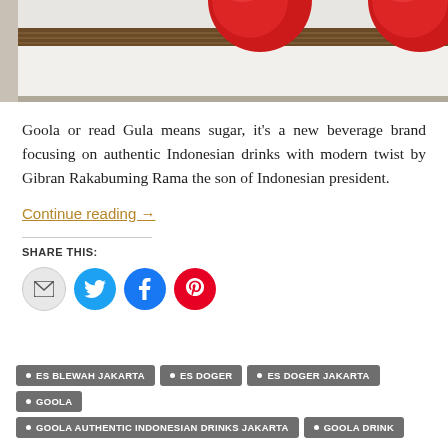[Figure (photo): Photo of dessert items — red round balls on a white tray with a dark chocolate/wafer base, shot from above on white background]
Goola or read Gula means sugar, it's a new beverage brand focusing on authentic Indonesian drinks with modern twist by Gibran Rakabuming Rama the son of Indonesian president.
Continue reading →
SHARE THIS:
ES BLEWAH JAKARTA
ES DOGER
ES DOGER JAKARTA
GOOLA
GOOLA AUTHENTIC INDONESIAN DRINKS JAKARTA
GOOLA DRINK